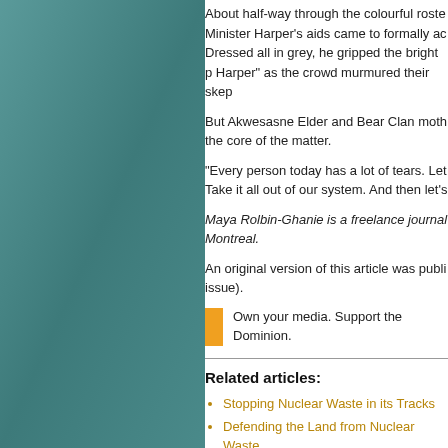About half-way through the colourful roste Minister Harper's aids came to formally ac Dressed all in grey, he gripped the bright p Harper” as the crowd murmured their skep
But Akwesasne Elder and Bear Clan moth the core of the matter.
“Every person today has a lot of tears. Let Take it all out of our system. And then let’s
Maya Rolbin-Ghanie is a freelance journal Montreal.
An original version of this article was publi issue).
Own your media. Support the Dominion.
Related articles:
Stopping Nuclear Waste in its Tracks
Defending the Land from Nuclear Waste
Mining Companies Feel Heat in the Ring of Fire
Halifax Rallies for Cultural Connections